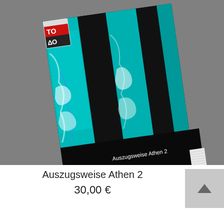[Figure (photo): A book titled 'Auszugsweise Athen 2' photographed at an angle on a grey background. The book cover features a teal/turquoise and black design with abstract painted patterns. A small sticker in the top left corner shows 'TO ΔΟ' in red and black text. The book title 'Auszugsweise Athen 2' is visible in white text on the lower black section of the cover.]
Auszugsweise Athen 2
30,00 €